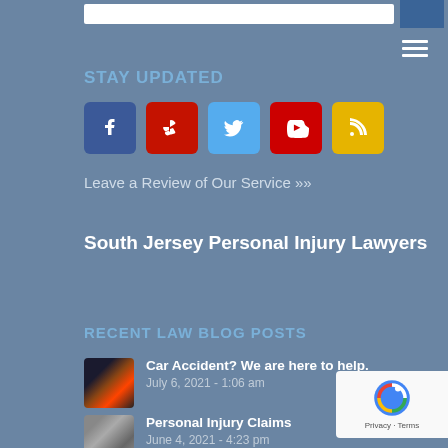STAY UPDATED
[Figure (illustration): Row of five social media icon buttons: Facebook (dark blue), Yelp (red), Twitter (light blue), YouTube (red), RSS (yellow/gold)]
Leave a Review of Our Service »»
South Jersey Personal Injury Lawyers
RECENT LAW BLOG POSTS
Car Accident? We are here to help. — July 6, 2021 - 1:06 am
Personal Injury Claims — June 4, 2021 - 4:23 pm